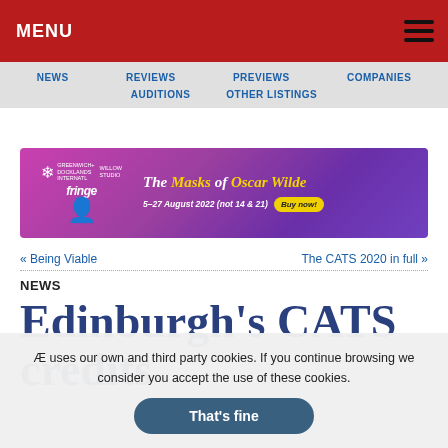MENU
NEWS   REVIEWS   PREVIEWS   COMPANIES   AUDITIONS   OTHER LISTINGS
[Figure (illustration): Advertisement banner for 'The Masks of Oscar Wilde' at Greenwich+Docklands/Willow Studio Fringe, 5-27 August 2022 (not 14 & 21), with Buy now button]
« Being Viable
The CATS 2020 in full »
NEWS
Edinburgh's CATS credits
Æ uses our own and third party cookies. If you continue browsing we consider you accept the use of these cookies.